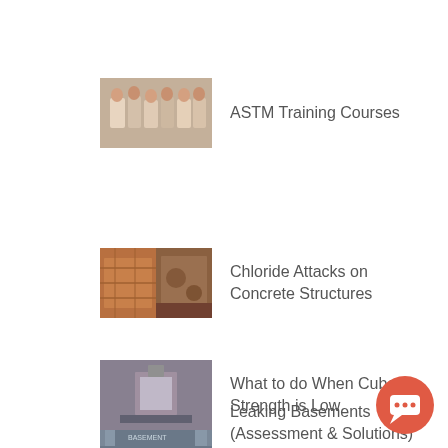[Figure (photo): Group photo of people at ASTM training course]
ASTM Training Courses
[Figure (photo): Two images showing chloride attack damage on concrete structures]
Chloride Attacks on Concrete Structures
[Figure (photo): Photo of a leaking basement]
Leaking Basements (Assessment & Solutions)
[Figure (photo): Photo related to cube strength testing]
What to do When Cube Strength is Low